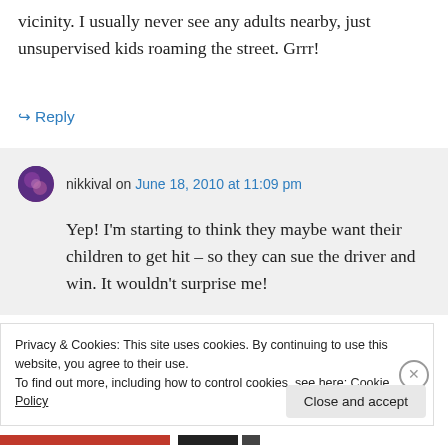vicinity. I usually never see any adults nearby, just unsupervised kids roaming the street. Grrr!
↳ Reply
nikkival on June 18, 2010 at 11:09 pm
Yep! I'm starting to think they maybe want their children to get hit – so they can sue the driver and win. It wouldn't surprise me!
Privacy & Cookies: This site uses cookies. By continuing to use this website, you agree to their use.
To find out more, including how to control cookies, see here: Cookie Policy